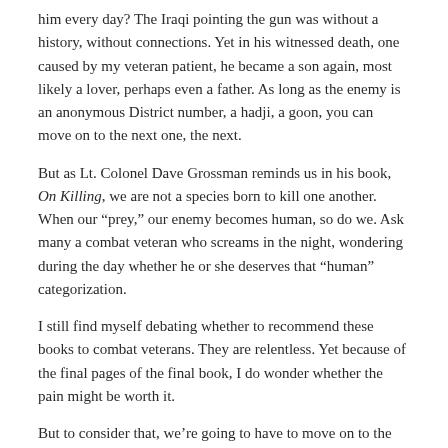him every day?  The Iraqi pointing the gun was without a history, without connections.  Yet in his witnessed death, one caused by my veteran patient, he became a son again, most likely a lover, perhaps even a father.  As long as the enemy is an anonymous District number, a hadji, a goon, you can move on to the next one, the next.
But as Lt. Colonel Dave Grossman reminds us in his book, On Killing, we are not a species born to kill one another.  When our “prey,” our enemy becomes human, so do we.  Ask many a combat veteran who screams in the night, wondering during the day whether he or she deserves that “human” categorization.
I still find myself debating whether to recommend these books to combat veterans.  They are relentless.  Yet because of the final pages of the final book, I do wonder whether the pain might be worth it.
But to consider that, we’re going to have to move on to the Spoiler Edition.
Share this: